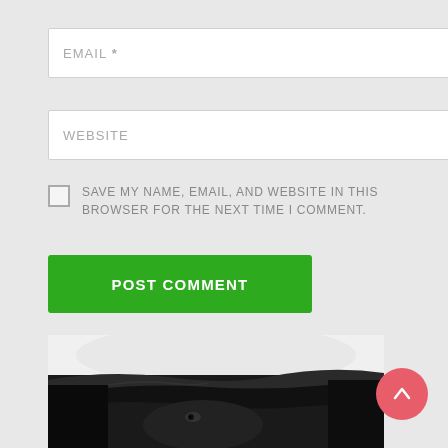EMAIL *
WEBSITE
SAVE MY NAME, EMAIL, AND WEBSITE IN THIS BROWSER FOR THE NEXT TIME I COMMENT.
POST COMMENT
[Figure (photo): Black and white close-up photograph of a person with eyes barely visible above a dark covering or fabric, with a light/white background above]